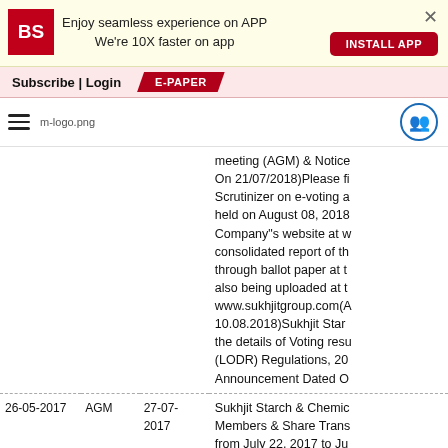Enjoy seamless experience on APP We're 10X faster on app | INSTALL APP
Subscribe | Login | E-PAPER
[Figure (logo): Business Standard (BS) logo and site navigation bar with hamburger menu and m-logo.png, plus user icon]
| Date | Type | Date | Description |
| --- | --- | --- | --- |
|  |  |  | meeting (AGM) & Notice Dated On 21/07/2018)Please find Scrutinizer on e-voting and held on August 08, 2018 Company"s website at w consolidated report of th through ballot paper at th also being uploaded at th www.sukhjitgroup.com(A 10.08.2018)Sukhjit Starc the details of Voting resu (LODR) Regulations, 20 Announcement Dated O |
| 26-05-2017 | AGM | 27-07-2017 | Sukhjit Starch & Chemic Members & Share Trans from July 22, 2017 to Ju of Payment of Dividend Company to be held on General Meeting of shar 27th day of July,2017.(A 29/07/2017) |